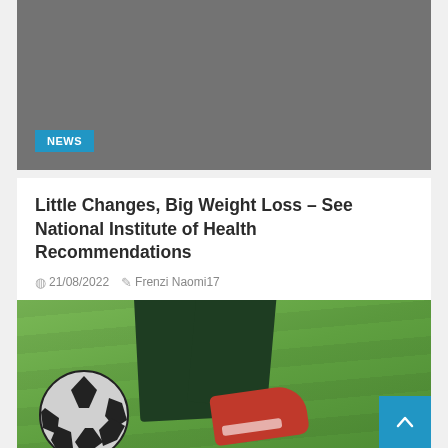[Figure (photo): Dark gray placeholder image block with a NEWS badge in the lower left corner]
Little Changes, Big Weight Loss – See National Institute of Health Recommendations
21/08/2022   Frenzi Naomi17
[Figure (photo): Photo of a soccer player's legs and boots kicking a soccer ball on a green grass field, with a blue back-to-top button in the bottom right]